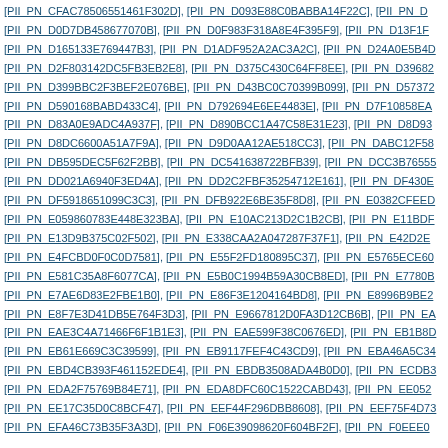[PII_PN_CFAC78506551461F302D], [PII_PN_D093E88C0BABBA14F22C], [PII_PN_D0...
[PII_PN_D0D7DB458677070B], [PII_PN_D0F983F318A8E4F395F9], [PII_PN_D13F1F...
[PII_PN_D165133E769447B3], [PII_PN_D1ADF952A2AC3A2C], [PII_PN_D24A0E5B4D...
[PII_PN_D2F803142DC5FB3EB2E8], [PII_PN_D375C430C64FF8EE], [PII_PN_D39682...
[PII_PN_D399BBC2F3BEF2E076BE], [PII_PN_D43BC0C70399B099], [PII_PN_D57372...
[PII_PN_D590168BABD433C4], [PII_PN_D792694E6EE4483E], [PII_PN_D7F10858EA...
[PII_PN_D83A0E9ADC4A937F], [PII_PN_D890BCC1A47C58E31E23], [PII_PN_D8D93...
[PII_PN_D8DC6600A51A7F9A], [PII_PN_D9D0AA12AE518CC3], [PII_PN_DABC12F58...
[PII_PN_DB595DEC5F62F2BB], [PII_PN_DC541638722BFB39], [PII_PN_DCC3B76555...
[PII_PN_DD021A6940F3ED4A], [PII_PN_DD2C2FBF35254712E161], [PII_PN_DF430E...
[PII_PN_DF59186510 99C3C3], [PII_PN_DFB922E6BE35F8D8], [PII_PN_E0382CFEED...
[PII_PN_E059860783E448E323BA], [PII_PN_E10AC213D2C1B2CB], [PII_PN_E11BDF...
[PII_PN_E13D9B375C02F502], [PII_PN_E338CAA2A047287F37F1], [PII_PN_E42D2E...
[PII_PN_E4FCBD0F0C0D7581], [PII_PN_E55F2FD180895C37], [PII_PN_E5765ECE60...
[PII_PN_E581C35A8F6077CA], [PII_PN_E5B0C1994B59A30CB8ED], [PII_PN_E7780B...
[PII_PN_E7AE6D83E2FBE1B0], [PII_PN_E86F3E1204164BD8], [PII_PN_E8996B9BE2...
[PII_PN_E8F7E3D41DB5E764F3D3], [PII_PN_E9667812D0FA3D12CB6B], [PII_PN_EA...
[PII_PN_EAE3C4A71466F6F1B1E3], [PII_PN_EAE599F38C0676ED], [PII_PN_EB1B8D...
[PII_PN_EB61E669C3C39599], [PII_PN_EB9117FEF4C43CD9], [PII_PN_EBA46A5C34...
[PII_PN_EBD4CB393F461152EDE4], [PII_PN_EBDB3508ADA4B0D0], [PII_PN_ECDB3...
[PII_PN_EDA2F75769B84E71], [PII_PN_EDA8DFC60C1522CABD43], [PII_PN_EE052...
[PII_PN_EE17C35D0C8BCF47], [PII_PN_EEF44F296DBB8608], [PII_PN_EEF75F4D73...
[PII_PN_EFA46C73B35F3A3D], [PII_PN_F06E39098620F604BF2F], [PII_PN_F0EEE0...